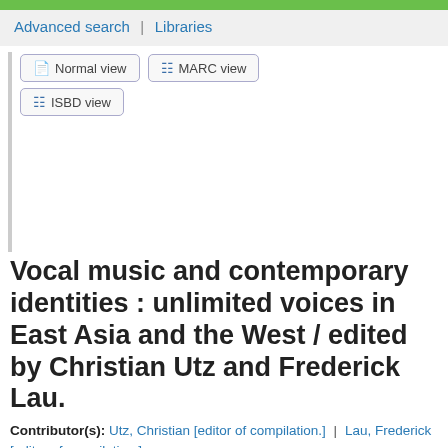Advanced search | Libraries
[Figure (screenshot): Navigation buttons: Normal view, MARC view, ISBD view]
Vocal music and contemporary identities : unlimited voices in East Asia and the West / edited by Christian Utz and Frederick Lau.
Contributor(s): Utz, Christian [editor of compilation.] | Lau, Frederick [editor of compilation.]
Material type: Text
Series: Routledge research in music
Publisher: New York : Routledge, 2013
Description: xvi, 324 pages : illustrations (black and white) ;